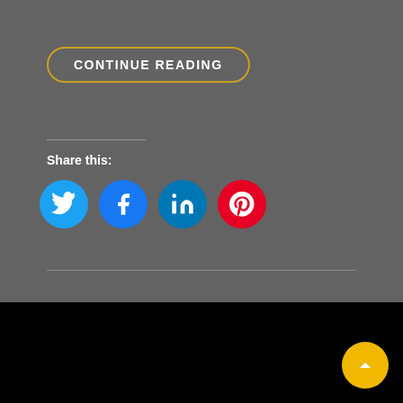CONTINUE READING
Share this:
[Figure (infographic): Social sharing icons: Twitter (blue), Facebook (blue), LinkedIn (blue), Pinterest (red)]
All Photos © ZACH DOBSON | Signify Photography By W Themes